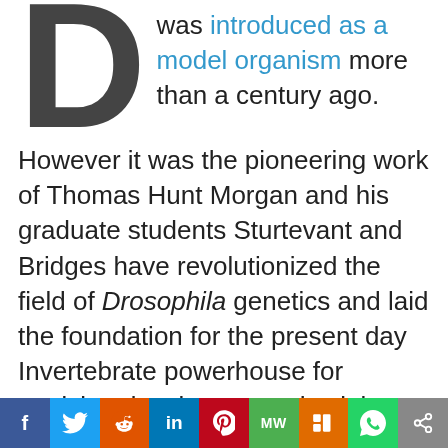D was introduced as a model organism more than a century ago. However it was the pioneering work of Thomas Hunt Morgan and his graduate students Sturtevant and Bridges have revolutionized the field of Drosophila genetics and laid the foundation for the present day Invertebrate powerhouse for studying development, physiology and behavior. Since more than 70% of known human disease genes have a
f  [Twitter] [Reddit] in [Pinterest] MW [Mix] [WhatsApp] [Share]